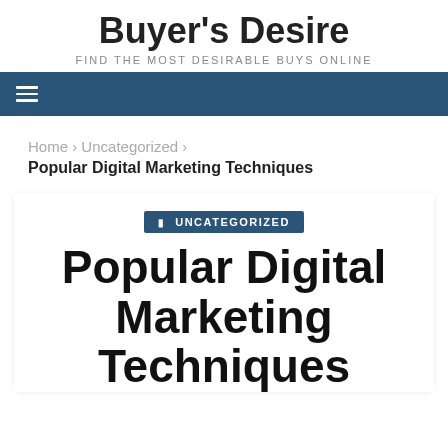Buyer's Desire
FIND THE MOST DESIRABLE BUYS ONLINE
≡ (navigation menu)
Home › Uncategorized ›
Popular Digital Marketing Techniques
UNCATEGORIZED
Popular Digital Marketing Techniques